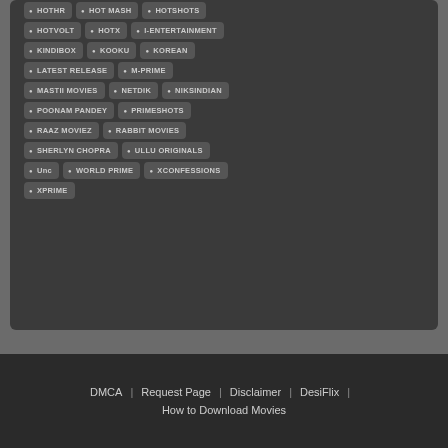HOTVOLT
HOTX
I-ENTERTAINMENT
KINDIBOX
KOOKU
KOREAN
LATEST RELEASE
M-PRIME
MASTII MOVIES
NETDIK
NIKSINDIAN
POONAM PANDEY
PRIMESHOTS
RAAZ MOVIEZ
RABBIT MOVIES
SHERLYN CHOPRA
ULLU ORIGINALS
Unc
WORLD PRIME
XCONFESSIONS
XPRIME
DMCA | Request Page | Disclaimer | DesiFlix | How to Download Movies